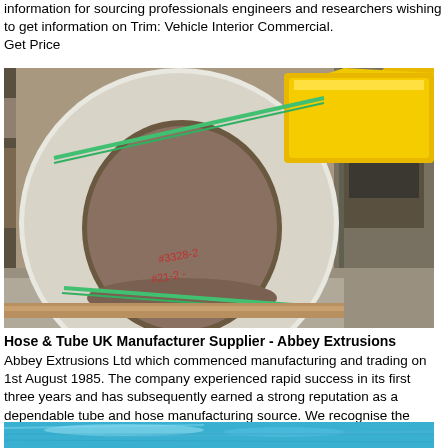information for sourcing professionals engineers and researchers wishing to get information on Trim: Vehicle Interior Commercial.
Get Price
[Figure (photo): Large industrial coil or roll of white material with a hollow center, yellow wedge support inside, green strapping, in a warehouse setting]
Hose & Tube UK Manufacturer Supplier - Abbey Extrusions
Abbey Extrusions Ltd which commenced manufacturing and trading on 1st August 1985. The company experienced rapid success in its first three years and has subsequently earned a strong reputation as a dependable tube and hose manufacturing source. We recognise the importance of quality manufacturing.
Get Price
[Figure (photo): Partial view of blue metallic or plastic material, cropped at bottom of page]